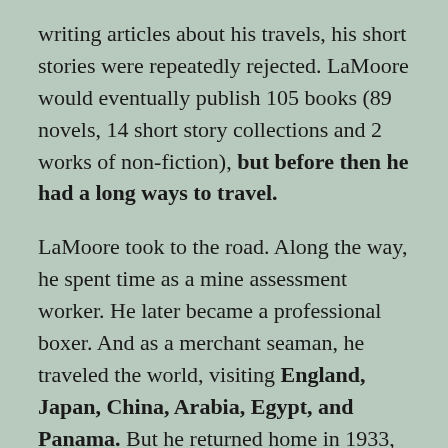writing articles about his travels, his short stories were repeatedly rejected. LaMoore would eventually publish 105 books (89 novels, 14 short story collections and 2 works of non-fiction), but before then he had a long ways to travel.
LaMoore took to the road. Along the way, he spent time as a mine assessment worker. He later became a professional boxer. And as a merchant seaman, he traveled the world, visiting England, Japan, China, Arabia, Egypt, and Panama. But he returned home in 1933, settled in Oklahoma, changed his name to Louis L'Amour, and pursued his writing.